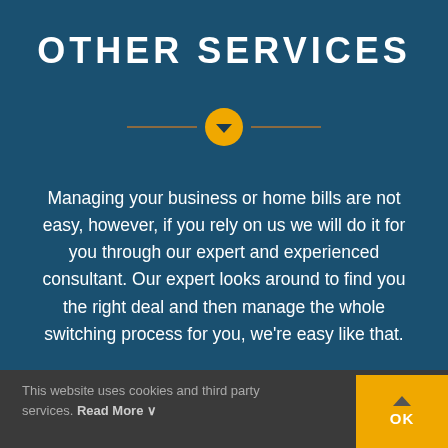OTHER SERVICES
[Figure (other): Decorative divider with horizontal lines on each side and a yellow circle containing a downward chevron arrow in the center]
Managing your business or home bills are not easy, however, if you rely on us we will do it for you through our expert and experienced consultant. Our expert looks around to find you the right deal and then manage the whole switching process for you, we're easy like that.
This website uses cookies and third party services. Read More ∨